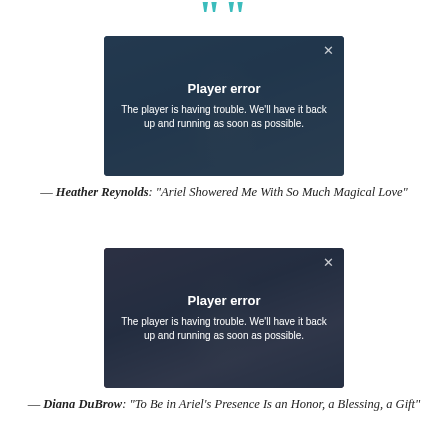[Figure (illustration): Teal decorative quotation mark icon at top center]
[Figure (screenshot): Video player error overlay on first video: 'Player error - The player is having trouble. We'll have it back up and running as soon as possible.']
— Heather Reynolds: "Ariel Showered Me With So Much Magical Love"
[Figure (screenshot): Video player error overlay on second video: 'Player error - The player is having trouble. We'll have it back up and running as soon as possible.']
— Diana DuBrow: "To Be in Ariel's Presence Is an Honor, a Blessing, a Gift"